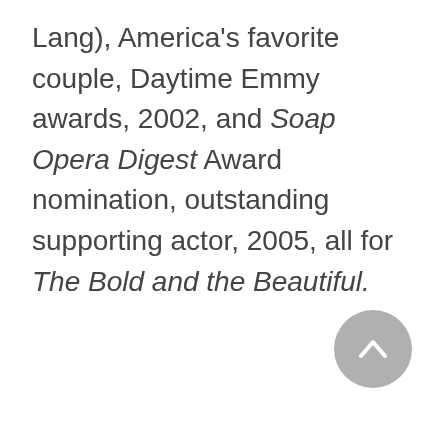Lang), America's favorite couple, Daytime Emmy awards, 2002, and Soap Opera Digest Award nomination, outstanding supporting actor, 2005, all for The Bold and the Beautiful.
[Figure (other): A circular grey scroll-to-top button with an upward-pointing chevron arrow icon]